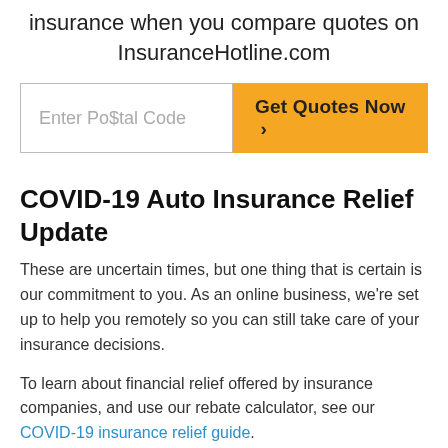insurance when you compare quotes on InsuranceHotline.com
Enter Postal Code | Get Quotes Now
COVID-19 Auto Insurance Relief Update
These are uncertain times, but one thing that is certain is our commitment to you. As an online business, we’re set up to help you remotely so you can still take care of your insurance decisions.
To learn about financial relief offered by insurance companies, and use our rebate calculator, see our COVID-19 insurance relief guide.